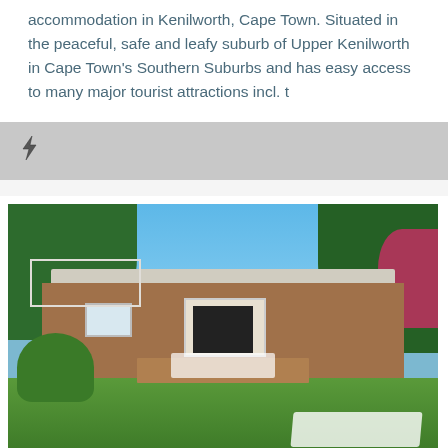accommodation in Kenilworth, Cape Town. Situated in the peaceful, safe and leafy suburb of Upper Kenilworth in Cape Town's Southern Suburbs and has easy access to many major tourist attractions incl. t
[Figure (other): Lightning bolt / loading icon on a grey background bar]
[Figure (photo): Outdoor photo of a brick cottage or guesthouse with a white tiled roof and white-framed French doors, surrounded by a lush garden with green lawn, flowering plants, white garden furniture and lounge chairs, blue sky and trees in the background.]